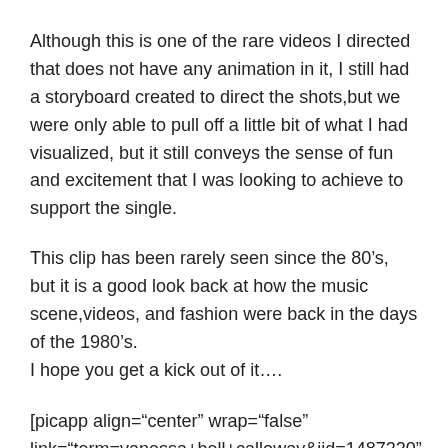Although this is one of the rare videos I directed that does not have any animation in it, I still had a storyboard created to direct the shots,but we were only able to pull off a little bit of what I had visualized, but it still conveys the sense of fun and excitement that I was looking to achieve to support the single.
This clip has been rarely seen since the 80’s, but it is a good look back at how the music scene,videos, and fashion were back in the days of the 1980’s.
I hope you get a kick out of it….
[picapp align=“center” wrap=“false” link=“term=vanessa+bell+calloway&iid=1487220” src=“http://view4.picapp.com/pictures.photo/image/1487220/earvin-magic-johnson/earvin-magic-johnson.jpg?